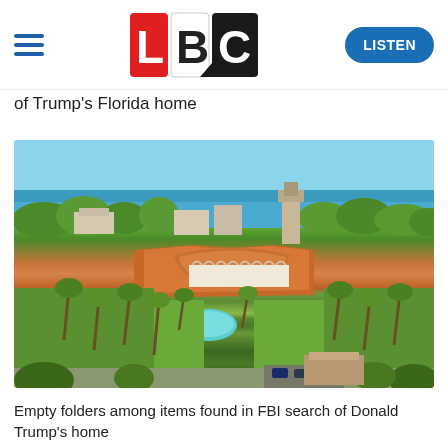LBC — LISTEN
of Trump's Florida home
[Figure (photo): Aerial view of Mar-a-Lago estate in Palm Beach, Florida, showing the sprawling Mediterranean-style complex with red-tiled roofs, palm trees, swimming pool, lush green lawns, and the Atlantic Ocean visible in the background.]
Empty folders among items found in FBI search of Donald Trump's home